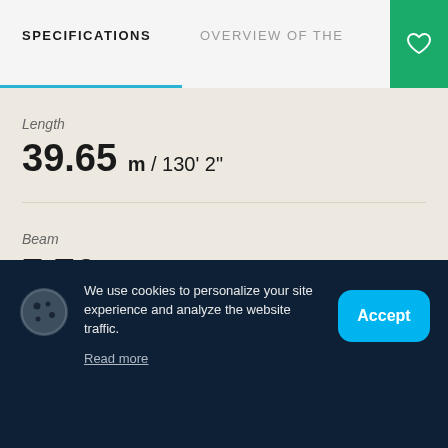SPECIFICATIONS | OVERVIEW OF THE | PHO
Length
39.65 m / 130' 2"
Beam
7.76 m / 25' 6"
Draft
1.55 m / 5' 2"
We use cookies to personalize your site experience and analyze the website traffic.
Read more